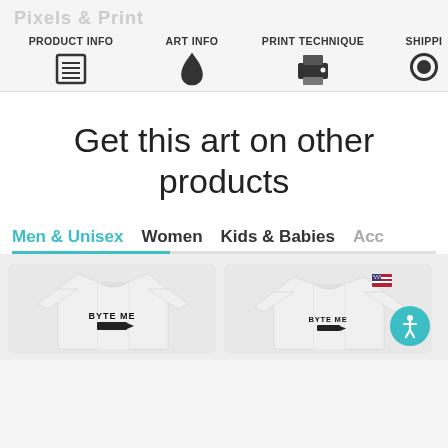PRODUCT INFO | ART INFO | PRINT TECHNIQUE | SHIPPI...
Get this art on other products
Men & Unisex
Women
Kids & Babies
Acc...
[Figure (photo): Two white t-shirts with 'BYTE ME' text and graphic printed on them, one with a small US flag badge]
[Figure (other): Accessibility icon button (blue circle with person symbol)]